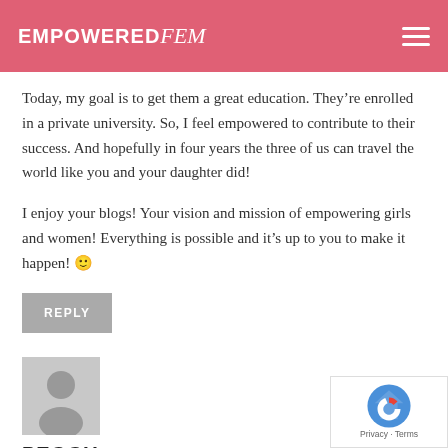EmpoweredFem
Today, my goal is to get them a great education. They're enrolled in a private university. So, I feel empowered to contribute to their success. And hopefully in four years the three of us can travel the world like you and your daughter did!
I enjoy your blogs! Your vision and mission of empowering girls and women! Everything is possible and it's up to you to make it happen! 🙂
REPLY
[Figure (illustration): Grey circular avatar placeholder icon showing a generic person silhouette]
PEGGY
JULY 16, 2019 AT 3:28 AM